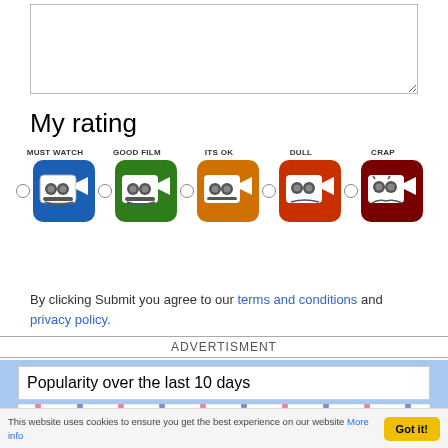[textarea]
My rating
[Figure (infographic): Rating icons with radio buttons: MUST WATCH (blue camera), GOOD FILM (green camera), ITS OK (orange camera), DULL (red-orange camera), CRAP (dark red angry camera)]
submit
By clicking Submit you agree to our terms and conditions and privacy policy.
ADVERTISMENT
Popularity over the last 10 days
[Figure (bar-chart): Popularity over the last 10 days]
This website uses cookies to ensure you get the best experience on our website More info